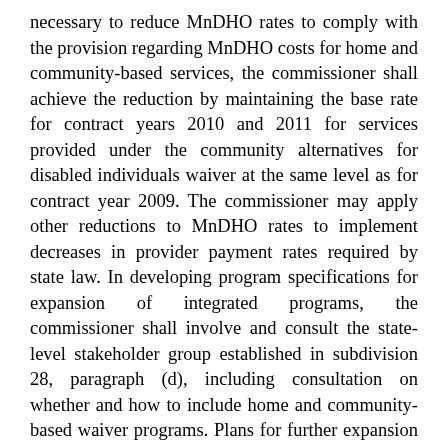necessary to reduce MnDHO rates to comply with the provision regarding MnDHO costs for home and community-based services, the commissioner shall achieve the reduction by maintaining the base rate for contract years 2010 and 2011 for services provided under the community alternatives for disabled individuals waiver at the same level as for contract year 2009. The commissioner may apply other reductions to MnDHO rates to implement decreases in provider payment rates required by state law. In developing program specifications for expansion of integrated programs, the commissioner shall involve and consult the state-level stakeholder group established in subdivision 28, paragraph (d), including consultation on whether and how to include home and community-based waiver programs. Plans for further expansion of MnDHO projects shall be presented to the chairs of the house of representatives and senate committees with jurisdiction over health and human services policy and finance by February 1, 2007.
(g) Notwithstanding section 256B.0261, health plans providing services under this section are responsible for home care targeted case management and relocation targeted case management. Services must be provided according to the